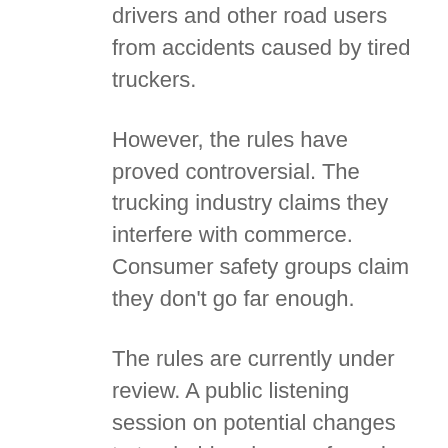drivers and other road users from accidents caused by tired truckers.
However, the rules have proved controversial. The trucking industry claims they interfere with commerce. Consumer safety groups claim they don't go far enough.
The rules are currently under review. A public listening session on potential changes to truck driver hours-of-service (HOS) rules was held on September 14.
This announcement followed an Advanced Notice of Proposed Rulemaking (ANPRM) issued by the Federal Motor Carrier Safety